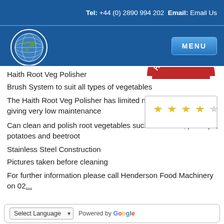Tel: +44 (0) 2890 994 202 Email: Email Us
[Figure (logo): Henderson Food Machinery circular logo with globe graphic]
[Figure (other): HFM Rating badge with red semicircle and 4 out of 5 gold stars]
Haith Root Veg Polisher
Brush System to suit all types of vegetables
The Haith Root Veg Polisher has limited moving parts giving very low maintenance
Can clean and polish root vegetables such as carrots, parsnips, potatoes and beetroot
Stainless Steel Construction
Pictures taken before cleaning
For further information please call Henderson Food Machinery on 02... sales@hendersonmachinery.com